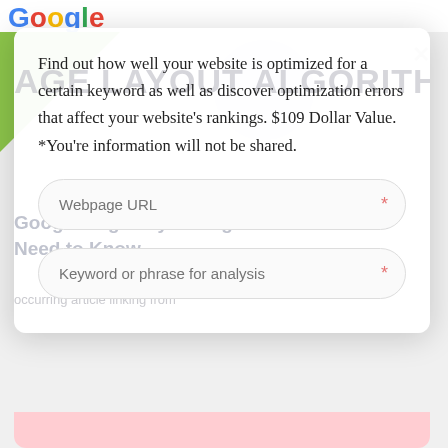[Figure (screenshot): Google logo strip at top of page background]
AGE LAYOUT ALGORITHI
Google Page Layout Algorithm: What You Need to Know
Find out how well your website is optimized for a certain keyword as well as discover optimization errors that affect your website's rankings. $109 Dollar Value. *You're information will not be shared.
Webpage URL
Keyword or phrase for analysis